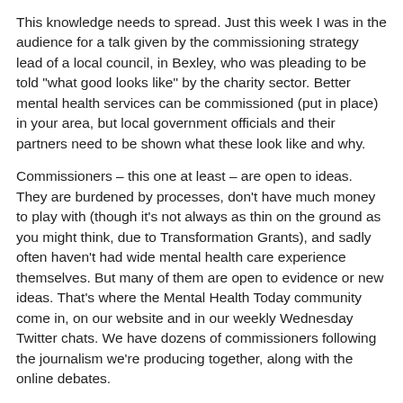This knowledge needs to spread. Just this week I was in the audience for a talk given by the commissioning strategy lead of a local council, in Bexley, who was pleading to be told "what good looks like" by the charity sector. Better mental health services can be commissioned (put in place) in your area, but local government officials and their partners need to be shown what these look like and why.
Commissioners – this one at least – are open to ideas. They are burdened by processes, don't have much money to play with (though it's not always as thin on the ground as you might think, due to Transformation Grants), and sadly often haven't had wide mental health care experience themselves. But many of them are open to evidence or new ideas. That's where the Mental Health Today community come in, on our website and in our weekly Wednesday Twitter chats. We have dozens of commissioners following the journalism we're producing together, along with the online debates.
Over the last six months Mental Health Today has championed co-production. We've commissioned writers wanting to tell it like it is for them and what helps. We've also given a platform to writers who have aimed higher than the status quo where they work. Evidence has been pooled. Received wisdom has been challenged and innovations have been shared that are making people feel better supported.